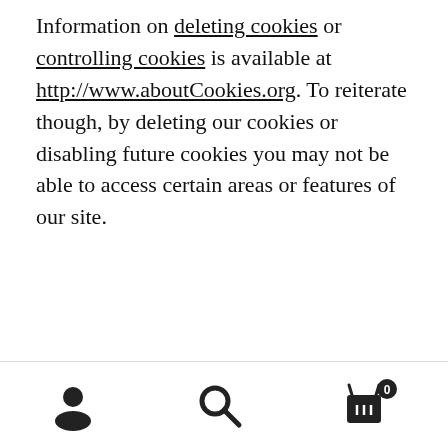Information on deleting cookies or controlling cookies is available at http://www.aboutCookies.org. To reiterate though, by deleting our cookies or disabling future cookies you may not be able to access certain areas or features of our site.
We use cookies on our website. If you stay on our website, you automatically agree to its use. View the privacy statement for more information. Dismiss
[Figure (other): Website footer navigation bar with three icons: user/account icon, search magnifying glass icon, and shopping cart icon with badge showing 0]